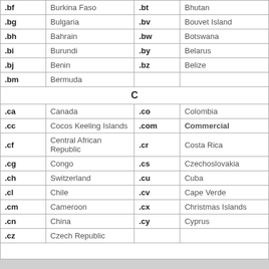| Code | Country | Code | Country |
| --- | --- | --- | --- |
| .bf | Burkina Faso | .bt | Bhutan |
| .bg | Bulgaria | .bv | Bouvet Island |
| .bh | Bahrain | .bw | Botswana |
| .bi | Burundi | .by | Belarus |
| .bj | Benin | .bz | Belize |
| .bm | Bermuda |  |  |
| C (section header) |  |  |  |
| .ca | Canada | .co | Colombia |
| .cc | Cocos Keeling Islands | .com | Commercial |
| .cf | Central African Republic | .cr | Costa Rica |
| .cg | Congo | .cs | Czechoslovakia |
| .ch | Switzerland | .cu | Cuba |
| .cl | Chile | .cv | Cape Verde |
| .cm | Cameroon | .cx | Christmas Islands |
| .cn | China | .cy | Cyprus |
| .cz | Czech Republic |  |  |